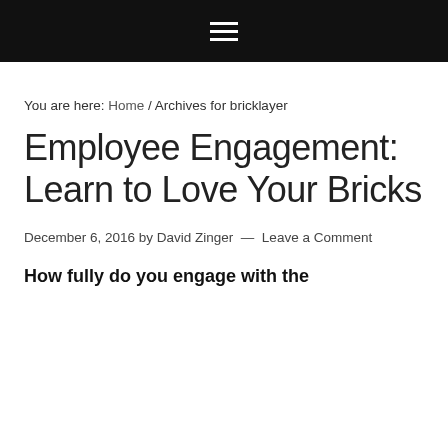≡
You are here: Home / Archives for bricklayer
Employee Engagement: Learn to Love Your Bricks
December 6, 2016 by David Zinger — Leave a Comment
How fully do you engage with the